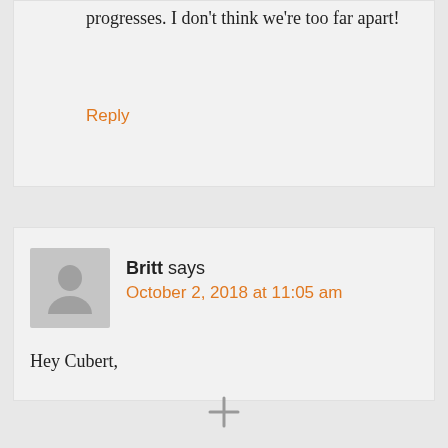…Keep us posted how your journey progresses. I don't think we're too far apart!
Reply
Britt says
October 2, 2018 at 11:05 am
Hey Cubert,
[Figure (other): Plus/expand icon at bottom center of page]